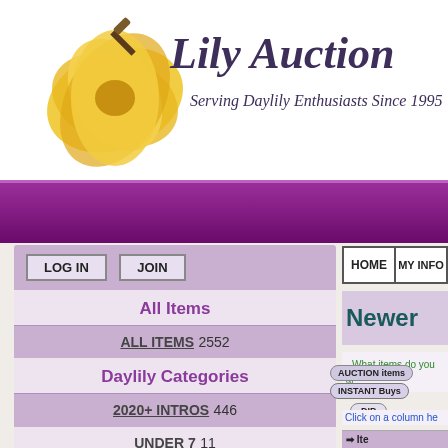[Figure (logo): Lily Auction logo with yellow daylily flower and gavel, text 'Lily Auction' and 'Serving Daylily Enthusiasts Since 1995']
Lily Auction
Serving Daylily Enthusiasts Since 1995
LOG IN  JOIN
All Items
ALL ITEMS 2552
Daylily Categories
2020+ INTROS 446
UNDER 7 11
7 UNDER 20 396
20 & OVER 326
HOME
MY INFO
Newer
- What items do you w
AUCTION items   INSTANT Buys
DIP
Click on a column he
Ite